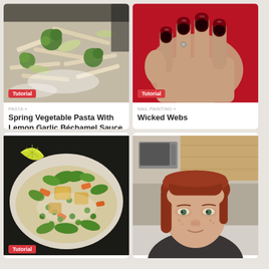[Figure (photo): Food photo: pasta dish with broccoli, fennel, and white cream sauce]
PASTA »
Spring Vegetable Pasta With Lemon Garlic Béchamel Sauce
[Figure (photo): Close-up of hand with dark red and black ombre nail art on red background]
NAIL PAINTING »
Wicked Webs
[Figure (photo): Food photo: Thai-style salad with tofu, peas, carrots, cilantro, and lime]
[Figure (photo): Photo of a woman with red hair in a kitchen]